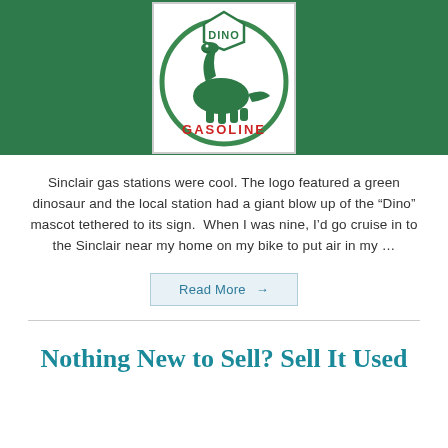[Figure (logo): Sinclair Dino Gasoline logo — circular green badge with white center, green brontosaurus dinosaur, 'DINO' text in green at top inside a pentagon shape, 'GASOLINE' in red text at bottom, on a green banner background]
Sinclair gas stations were cool. The logo featured a green dinosaur and the local station had a giant blow up of the “Dino” mascot tethered to its sign.  When I was nine, I’d go cruise in to the Sinclair near my home on my bike to put air in my …
Read More →
Nothing New to Sell? Sell It Used